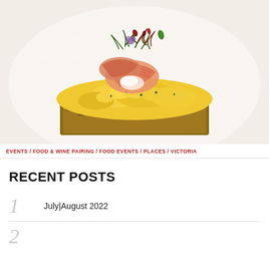[Figure (photo): Close-up food photo of scrambled eggs on toast topped with prawns/shrimp and garnished with microgreens on a white plate]
EVENTS / FOOD & WINE PAIRING / FOOD EVENTS / PLACES / VICTORIA
RECENT POSTS
1  July|August 2022
2  ...